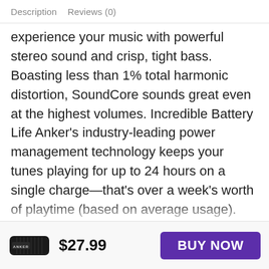Description   Reviews (0)
experience your music with powerful stereo sound and crisp, tight bass. Boasting less than 1% total harmonic distortion, SoundCore sounds great even at the highest volumes. Incredible Battery Life Anker's industry-leading power management technology keeps your tunes playing for up to 24 hours on a single charge—that's over a week's worth of playtime (based on average usage). Uncompromised Portability To keep SoundCore small but also sounding great, we've designed it using a unique spiral bass port design. The result is a clean bass sound you can easily pick up and put in your bag. Bluetooth 4.0 Connectivity Unlike most other
[Figure (photo): Anker SoundCore Bluetooth speaker product image, black rectangular speaker with ANKER branding]
$27.99
BUY NOW